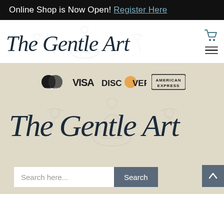Online Shop is Now Open! Register Here
[Figure (logo): The Gentle Art script logo with decorative watermark vase/floral motifs in the header]
[Figure (infographic): Payment method logos: MasterCard, VISA, DISCOVER, American Express on beige background]
[Figure (logo): The Gentle Art large script logo with decorative watermark on beige background]
[Figure (other): Search bar with 'Search here...' placeholder and Search button, plus back-to-top arrow button]